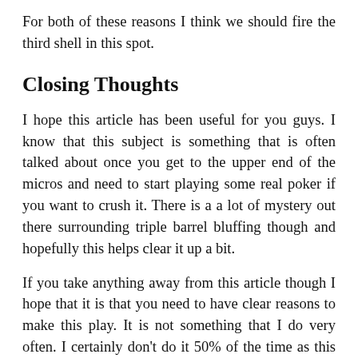For both of these reasons I think we should fire the third shell in this spot.
Closing Thoughts
I hope this article has been useful for you guys. I know that this subject is something that is often talked about once you get to the upper end of the micros and need to start playing some real poker if you want to crush it. There is a a lot of mystery out there surrounding triple barrel bluffing though and hopefully this helps clear it up a bit.
If you take anything away from this article though I hope that it is that you need to have clear reasons to make this play. It is not something that I do very often. I certainly don't do it 50% of the time as this post might suggest. I picked spots purposely where it was possible to show you the reasoning. In most situations you won't have those clear reasons.
Make sure every action that you make in this game has a purpose behind it. Don't bet for the sake of betting especially in spots like